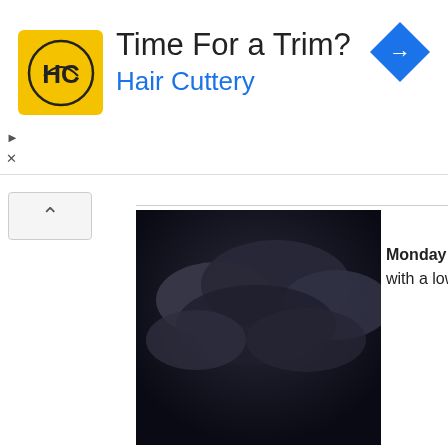[Figure (other): Hair Cuttery advertisement banner with yellow logo showing HC initials, text 'Time For a Trim?' and 'Hair Cuttery' in blue, blue diamond turn arrow icon on right]
[Figure (photo): Dark stormy night clouds weather icon]
Monday Night... Pa with a low around 7
[Figure (photo): Partly cloudy with sun and rain shower weather icon, 40% precipitation badge]
Tuesday... A c showers. Mostly su high near 91. C precipitation is 40%
[Figure (photo): Cloudy night with rain showers weather icon, 30% precipitation badge]
Tuesday Night... A showers. Mostly clo low around 72. C